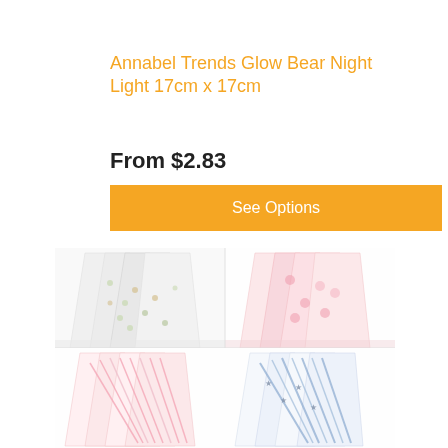Annabel Trends Glow Bear Night Light 17cm x 17cm
From $2.83
See Options
[Figure (photo): Four product images showing folded/hanging swaddle wraps in different patterns: top-left shows white with small animal print, top-right shows pink/white floral, bottom-left shows pink diagonal stripes, bottom-right shows grey/blue diagonal stripes with stars.]